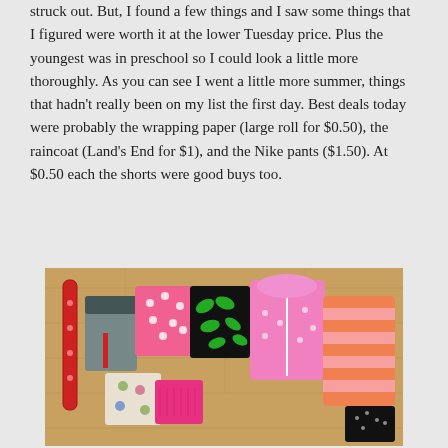struck out. But, I found a few things and I saw some things that I figured were worth it at the lower Tuesday price. Plus the youngest was in preschool so I could look a little more thoroughly. As you can see I went a little more summer, things that hadn't really been on my list the first day. Best deals today were probably the wrapping paper (large roll for $0.50), the raincoat (Land's End for $1), and the Nike pants ($1.50). At $0.50 each the shorts were good buys too.
[Figure (photo): A flat lay photo on a wooden floor showing various children's clothing items: a roll of red wrapping paper, gray Nike pants, a pink polka dot shirt, black and green patterned shorts, floral shorts, pink knit shorts, a pink zip-up raincoat, an orange and pink striped hoodie, and a black sparkly item.]